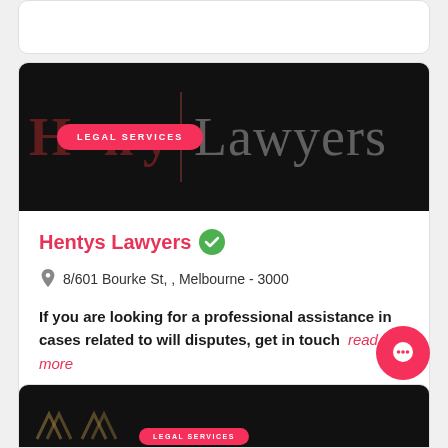[Figure (screenshot): Top of a partially visible white card from a directory listing, only bottom edge visible.]
[Figure (photo): Dark banner image for Hentys Lawyers showing the firm name in red/grey serif text on black background, with a pink rounded 'LEGAL SERVICES' badge overlaid.]
Hentys Lawyers
8/601 Bourke St, , Melbourne - 3000
If you are looking for a professional assistance in cases related to will disputes, get in touch
read more
[Figure (screenshot): Bottom of a partially visible card showing a dark banner with abstract logo marks and a 'LEGAL SERVICES' badge, partially cropped at the bottom of the page.]